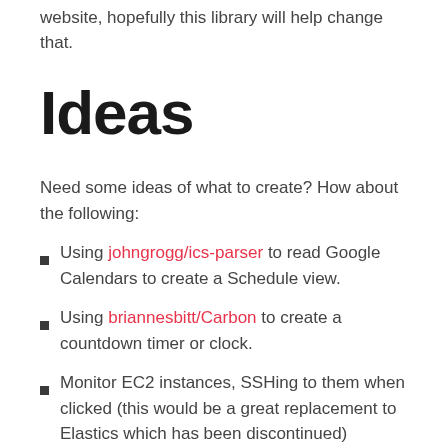website, hopefully this library will help change that.
Ideas
Need some ideas of what to create? How about the following:
Using johngrogg/ics-parser to read Google Calendars to create a Schedule view.
Using briannesbitt/Carbon to create a countdown timer or clock.
Monitor EC2 instances, SSHing to them when clicked (this would be a great replacement to Elastics which has been discontinued)